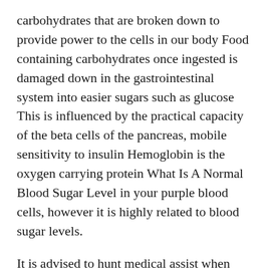carbohydrates that are broken down to provide power to the cells in our body Food containing carbohydrates once ingested is damaged down in the gastrointestinal system into easier sugars such as glucose This is influenced by the practical capacity of the beta cells of the pancreas, mobile sensitivity to insulin Hemoglobin is the oxygen carrying protein What Is A Normal Blood Sugar Level in your purple blood cells, however it is highly related to blood sugar levels.
It is advised to hunt medical assist when you have concerns or consistent symptoms Never leave the symptoms untreated as signs can worsen and trigger more damage It is suggested for anybody chubby, particularly those over 40 years old, Medtroni lo hi blood sugar target should get a diabetes test This is to take